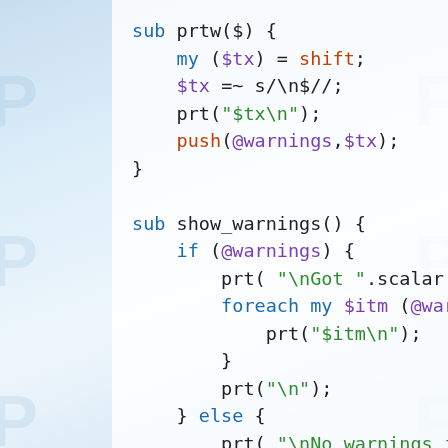[Figure (screenshot): Syntax-highlighted Perl source code showing three subroutine definitions: prtw, show_warnings, and dispSymbols, with color-coded keywords, variables, strings, and built-in functions on a white panel over a light blue gradient background with faint 'P' watermarks.]